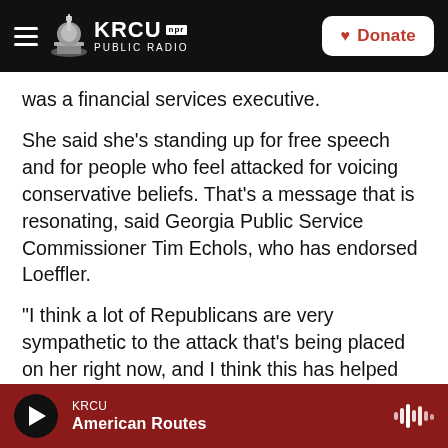KRCU NPR PUBLIC RADIO | Donate
was a financial services executive.
She said she's standing up for free speech and for people who feel attacked for voicing conservative beliefs. That's a message that is resonating, said Georgia Public Service Commissioner Tim Echols, who has endorsed Loeffler.
"I think a lot of Republicans are very sympathetic to the attack that's being placed on her right now, and I think this has helped her," Echols said. "Kelly has had the courage to be able to stand up, and I think Republicans are giving her some credit for that."
KRCU | American Routes